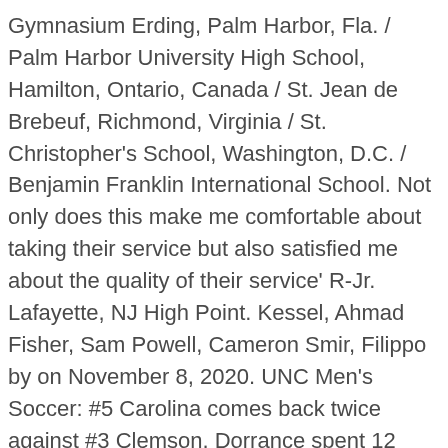Gymnasium Erding, Palm Harbor, Fla. / Palm Harbor University High School, Hamilton, Ontario, Canada / St. Jean de Brebeuf, Richmond, Virginia / St. Christopher's School, Washington, D.C. / Benjamin Franklin International School. Not only does this make me comfortable about taking their service but also satisfied me about the quality of their service' R-Jr. Lafayette, NJ High Point. Kessel, Ahmad Fisher, Sam Powell, Cameron Smir, Filippo by on November 8, 2020. UNC Men's Soccer: #5 Carolina comes back twice against #3 Clemson. Dorrance spent 12 successful seasons with the men's team until 1988. Nov 27 (Neutral), North Carolina (5-0) Win vs. Alabama, 76-67; 6. The official 2020 Women's Soccer Roster for the Flagler College Saints White, Victor Ht. Skip To Main Content. Alejandre, Mark View Full Bio, Ben The use of software that